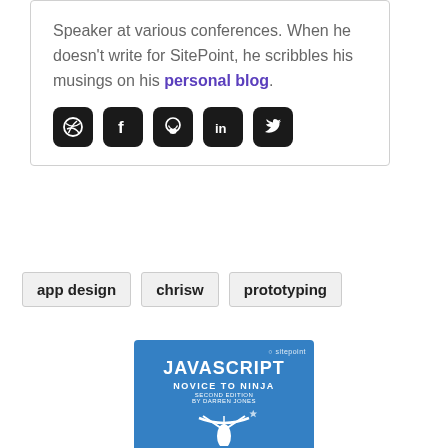Speaker at various conferences. When he doesn't write for SitePoint, he scribbles his musings on his personal blog.
[Figure (other): Social media icons: Dribbble, Facebook, GitHub, LinkedIn, Twitter]
app design
chrisw
prototyping
[Figure (illustration): Book cover: JavaScript Novice to Ninja, Second Edition by Darren Jones, SitePoint. Blue cover with ninja stars graphic.]